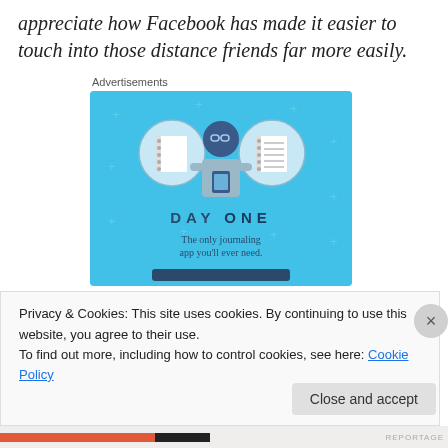appreciate how Facebook has made it easier to touch into those distance friends far more easily.
Advertisements
[Figure (illustration): Day One journaling app advertisement. Light blue background with illustration of a person holding a phone, flanked by two circular icons showing notebook/journal graphics. Text reads 'DAY ONE' and 'The only journaling app you'll ever need.']
Privacy & Cookies: This site uses cookies. By continuing to use this website, you agree to their use.
To find out more, including how to control cookies, see here: Cookie Policy
Close and accept